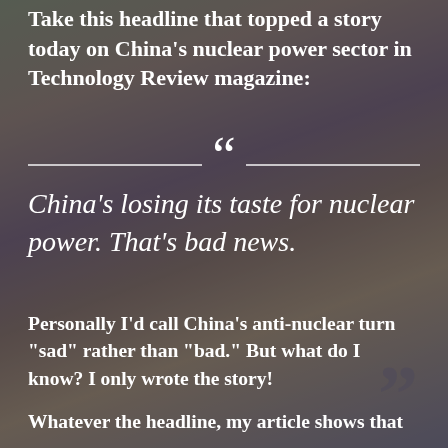Take this headline that topped a story today on China's nuclear power sector in Technology Review magazine:
China’s losing its taste for nuclear power. That’s bad news.
Personally I’d call China’s anti-nuclear turn “sad” rather than “bad.” But what do I know? I only wrote the story!
Whatever the headline, my article shows that